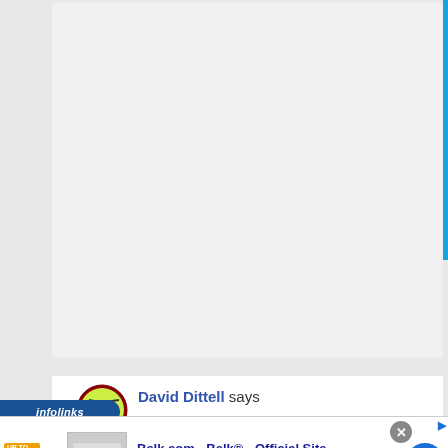[Figure (screenshot): White/light gray empty content area — top portion of a webpage with blank main content column]
David Dittell says
[Figure (screenshot): Infolinks advertising overlay banner showing a Belk.com ad: 'Belk.com - Belk® - Official Site — Shop for clothing, handbags, jewelry, beauty, home & more! www.belk.com']